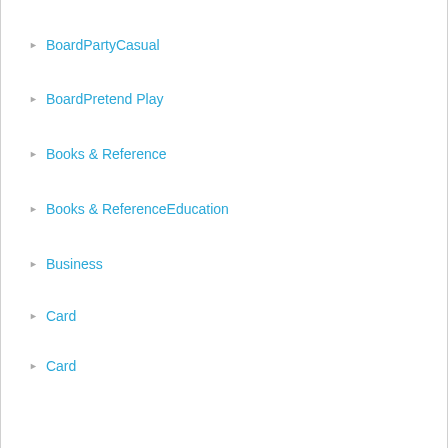BoardPartyCasual
BoardPretend Play
Books & Reference
Books & ReferenceEducation
Business
Card
Card
CardAction & Adventure
CardBrain Games
CardCasual
CardClassic cardsCasual
CardEducation